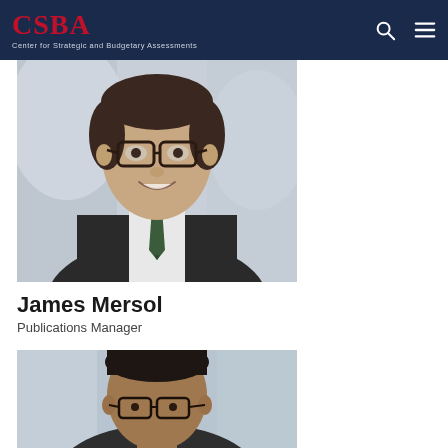CSBA — Center for Strategic and Budgetary Assessments
[Figure (photo): Portrait photo of James Mersol, a young man with glasses, wearing a dark suit and green tie, smiling at the camera]
James Mersol
Publications Manager
[Figure (photo): Partial portrait photo of another person with dark hair and glasses, cropped at bottom of page]